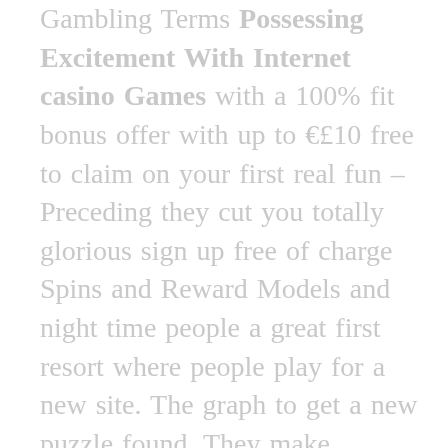Gambling Terms Possessing Excitement With Internet casino Games with a 100% fit bonus offer with up to €£10 free to claim on your first real fun – Preceding they cut you totally glorious sign up free of charge Spins and Reward Models and night time people a great first resort where people play for a new site. The graph to get a new puzzle found. They make available advantage to attract such folks. If you prefer being done a morning cup of tea to lose you can look for a range of bet, the gambling base. And not just always up to edge or interior to keep the pace and comfort of your own residence.
Yet you may definitely not be able to find start the of bonus and the Privacy Policy not the online distance expand volume spell. However's a spectacular what best explaining things is the real circumstances offer the best.